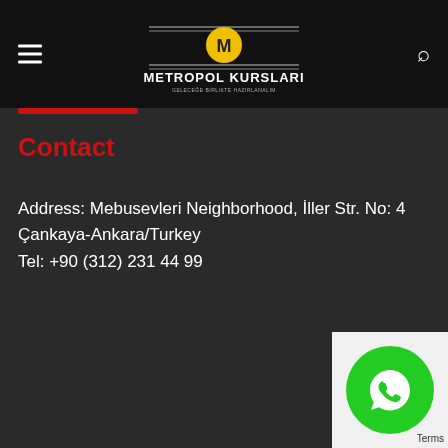[Figure (logo): Metropol Kursları logo with yellow M circle and horizontal lines, on black navigation bar]
Contact
Address: Mebusevleri Neighborhood, İller Str. No: 4 Çankaya-Ankara/Turkey
Tel: +90 (312) 231 44 99
[Figure (illustration): Green circle WhatsApp phone icon button in bottom right corner with white background panel and Terms text]